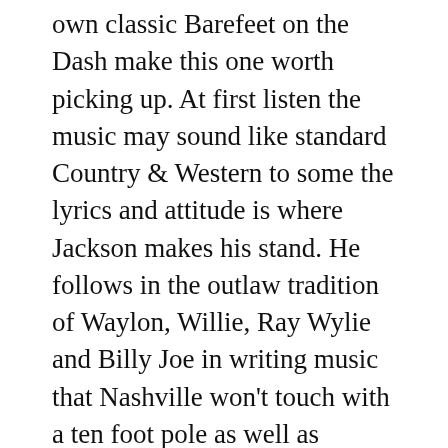own classic Barefeet on the Dash make this one worth picking up. At first listen the music may sound like standard Country & Western to some the lyrics and attitude is where Jackson makes his stand. He follows in the outlaw tradition of Waylon, Willie, Ray Wylie and Billy Joe in writing music that Nashville won't touch with a ten foot pole as well as touching on topics that are generally forbidden in the radio safe sounds drifting out of Music City. Jackson is most assuredly a Texas boy, born and bred, and that shows through when he plays and in his overall approach to life.
Aces 'n Eights ain't gonna make album of the year for me but it ain't getting deleted off my iPod either. It's a good listen and I can about...